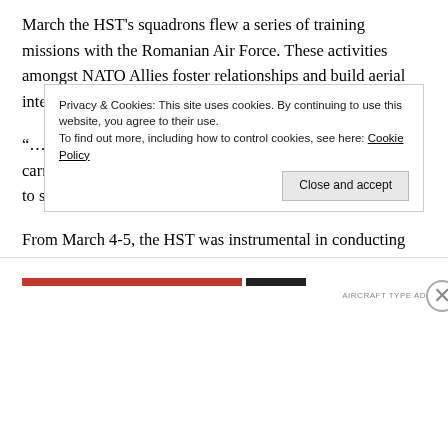March the HST's squadrons flew a series of training missions with the Romanian Air Force. These activities amongst NATO Allies foster relationships and build aerial interoperability.
“…We have a unique ability to operate from an aircraft carrier and by working with our NATO Allies we really get to showcase our cohesive unified force.”
From March 4-5, the HST was instrumental in conducting fixed-wing flight operations in the North Aegean Sea. The HST, flagship of the U.S. Navy’s
Privacy & Cookies: This site uses cookies. By continuing to use this website, you agree to their use.
To find out more, including how to control cookies, see here: Cookie Policy
Close and accept